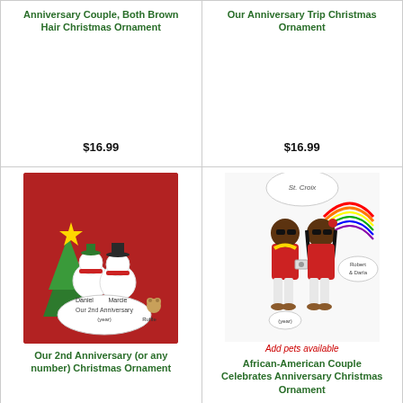Anniversary Couple, Both Brown Hair Christmas Ornament
$16.99
Our Anniversary Trip Christmas Ornament
$16.99
[Figure (photo): Snowman couple ornament with Christmas tree, names Daniel and Marcie, with pet Ruffle, text Our 2nd Anniversary (year)]
Our 2nd Anniversary (or any number) Christmas Ornament
[Figure (photo): African-American couple ornament at St. Croix, with rainbow and camera, names Robert & Darla, Add pets available]
Add pets available
African-American Couple Celebrates Anniversary Christmas Ornament